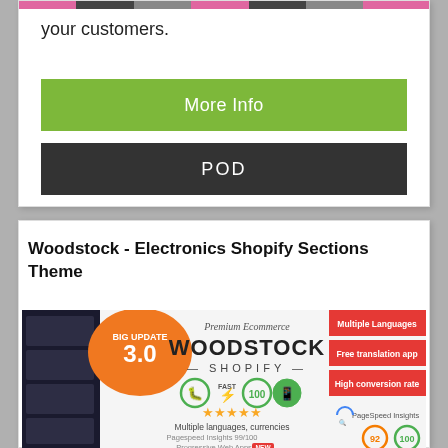your customers.
More Info
POD
Woodstock - Electronics Shopify Sections Theme
[Figure (screenshot): Woodstock Shopify theme promotional banner showing BIG UPDATE 3.0 badge, Premium Ecommerce Woodstock Shopify branding, features including Multiple Languages, Free translation app, High conversion rate, fast badge, 100 score, mobile icon, 5 star rating, Multiple languages currencies, Pagespeed Insights 99/100, Progressive Web Apps, PageSpeed Insights scores 92 and 100.]